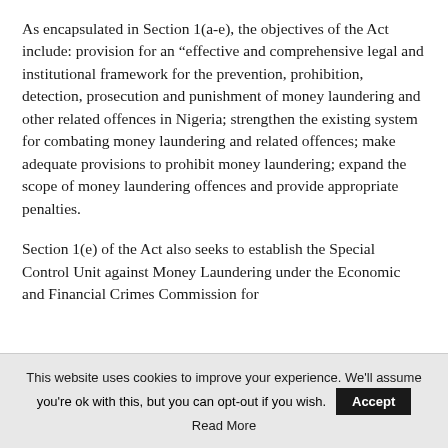As encapsulated in Section 1(a-e), the objectives of the Act include: provision for an “effective and comprehensive legal and institutional framework for the prevention, prohibition, detection, prosecution and punishment of money laundering and other related offences in Nigeria; strengthen the existing system for combating money laundering and related offences; make adequate provisions to prohibit money laundering; expand the scope of money laundering offences and provide appropriate penalties.
Section 1(e) of the Act also seeks to establish the Special Control Unit against Money Laundering under the Economic and Financial Crimes Commission for
This website uses cookies to improve your experience. We'll assume you're ok with this, but you can opt-out if you wish. Accept Read More